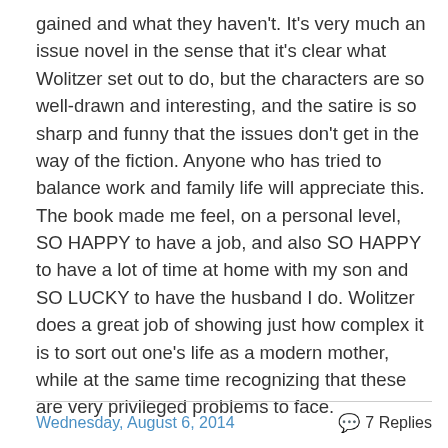gained and what they haven't. It's very much an issue novel in the sense that it's clear what Wolitzer set out to do, but the characters are so well-drawn and interesting, and the satire is so sharp and funny that the issues don't get in the way of the fiction. Anyone who has tried to balance work and family life will appreciate this. The book made me feel, on a personal level, SO HAPPY to have a job, and also SO HAPPY to have a lot of time at home with my son and SO LUCKY to have the husband I do. Wolitzer does a great job of showing just how complex it is to sort out one's life as a modern mother, while at the same time recognizing that these are very privileged problems to face.
Wednesday, August 6, 2014   7 Replies